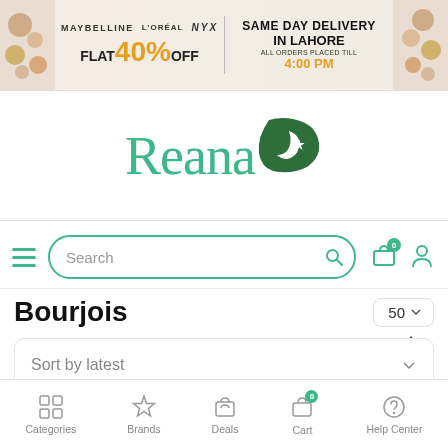[Figure (screenshot): Promotional banner: Maybelline, L'Oreal, NYX brands with FLAT 40% OFF and SAME DAY DELIVERY IN LAHORE, ALL ORDERS PLACED TILL 4:00 PM]
[Figure (logo): Reana brand logo with Pakistani flag graphic]
[Figure (screenshot): Search bar with hamburger menu, search field, shopping bag icon (0), and user profile icon]
Bourjois
50 (dropdown)
Sort by latest (dropdown)
[Figure (screenshot): Partially visible product cards with green SALE badge circles]
Categories | Brands | Deals | Cart | Help Center